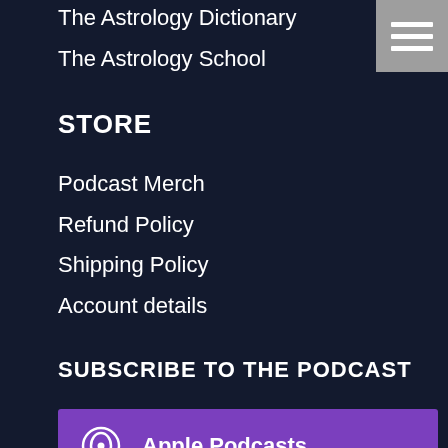The Astrology Dictionary
The Astrology School
STORE
Podcast Merch
Refund Policy
Shipping Policy
Account details
SUBSCRIBE TO THE PODCAST
[Figure (infographic): Apple Podcasts subscription button with purple background and podcast icon]
[Figure (infographic): Google Podcasts subscription button with red background and Google Podcasts icon]